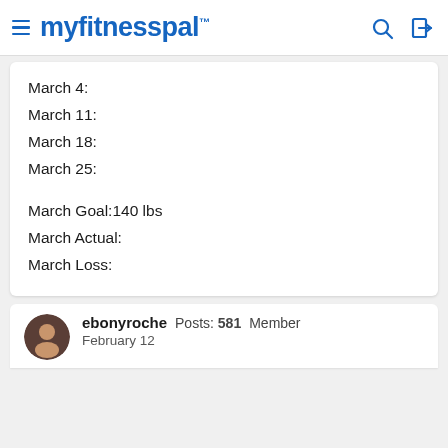myfitnesspal
March 4:
March 11:
March 18:
March 25:
March Goal:140 lbs
March Actual:
March Loss:
ebonyroche  Posts: 581  Member
February 12